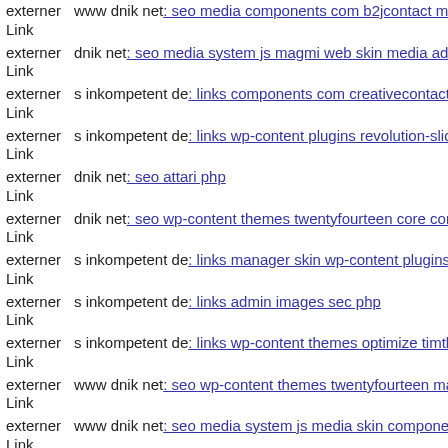externer Link  www dnik net: seo media components com b2jcontact medi
externer Link  dnik net: seo media system js magmi web skin media admir
externer Link  s inkompetent de: links components com creativecontactfor
externer Link  s inkompetent de: links wp-content plugins revolution-slide
externer Link  dnik net: seo attari php
externer Link  dnik net: seo wp-content themes twentyfourteen core compe
externer Link  s inkompetent de: links manager skin wp-content plugins w
externer Link  s inkompetent de: links admin images sec php
externer Link  s inkompetent de: links wp-content themes optimize timthu
externer Link  www dnik net: seo wp-content themes twentyfourteen magr
externer Link  www dnik net: seo media system js media skin components